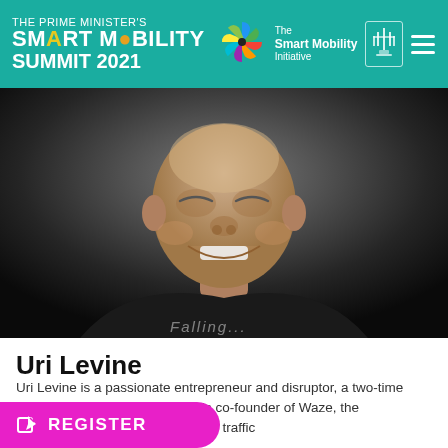THE PRIME MINISTER'S SMART MOBILITY SUMMIT 2021 | The Smart Mobility Initiative
[Figure (photo): Portrait photo of Uri Levine, a bald smiling man wearing a dark t-shirt, against a dark background]
Uri Levine
Uri Levine is a passionate entrepreneur and disruptor, a two-time 'unicorn' builder (Duocorn). He is co-founder of Waze, the community-based driving traffic
[Figure (other): Magenta REGISTER button with edit icon]